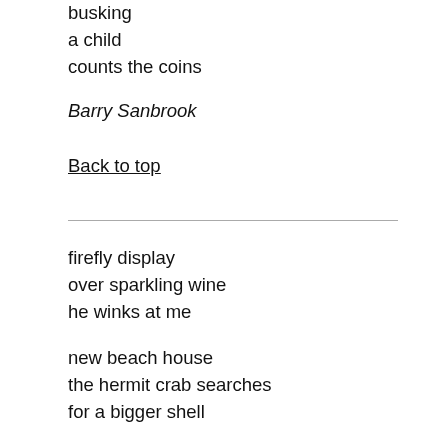busking
a child
counts the coins
Barry Sanbrook
Back to top
firefly display
over sparkling wine
he winks at me
new beach house
the hermit crab searches
for a bigger shell